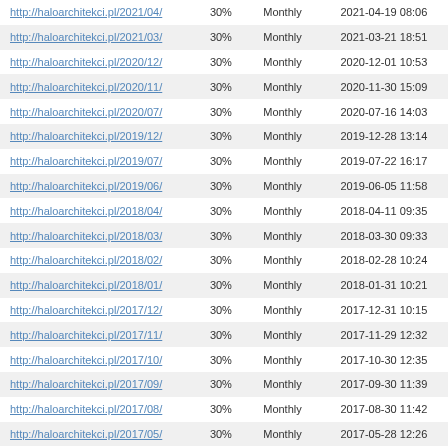| http://haloarchitekci.pl/2021/04/ | 30% | Monthly | 2021-04-19 08:06 |
| http://haloarchitekci.pl/2021/03/ | 30% | Monthly | 2021-03-21 18:51 |
| http://haloarchitekci.pl/2020/12/ | 30% | Monthly | 2020-12-01 10:53 |
| http://haloarchitekci.pl/2020/11/ | 30% | Monthly | 2020-11-30 15:09 |
| http://haloarchitekci.pl/2020/07/ | 30% | Monthly | 2020-07-16 14:03 |
| http://haloarchitekci.pl/2019/12/ | 30% | Monthly | 2019-12-28 13:14 |
| http://haloarchitekci.pl/2019/07/ | 30% | Monthly | 2019-07-22 16:17 |
| http://haloarchitekci.pl/2019/06/ | 30% | Monthly | 2019-06-05 11:58 |
| http://haloarchitekci.pl/2018/04/ | 30% | Monthly | 2018-04-11 09:35 |
| http://haloarchitekci.pl/2018/03/ | 30% | Monthly | 2018-03-30 09:33 |
| http://haloarchitekci.pl/2018/02/ | 30% | Monthly | 2018-02-28 10:24 |
| http://haloarchitekci.pl/2018/01/ | 30% | Monthly | 2018-01-31 10:21 |
| http://haloarchitekci.pl/2017/12/ | 30% | Monthly | 2017-12-31 10:15 |
| http://haloarchitekci.pl/2017/11/ | 30% | Monthly | 2017-11-29 12:32 |
| http://haloarchitekci.pl/2017/10/ | 30% | Monthly | 2017-10-30 12:35 |
| http://haloarchitekci.pl/2017/09/ | 30% | Monthly | 2017-09-30 11:39 |
| http://haloarchitekci.pl/2017/08/ | 30% | Monthly | 2017-08-30 11:42 |
| http://haloarchitekci.pl/2017/05/ | 30% | Monthly | 2017-05-28 12:26 |